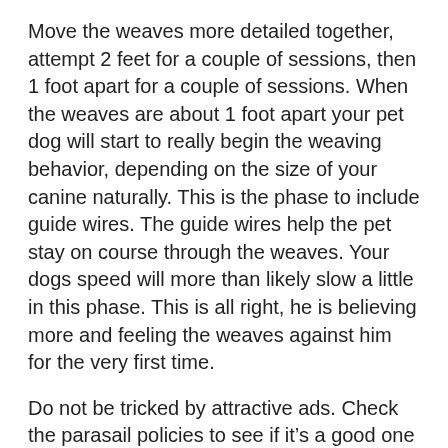Move the weaves more detailed together, attempt 2 feet for a couple of sessions, then 1 foot apart for a couple of sessions. When the weaves are about 1 foot apart your pet dog will start to really begin the weaving behavior, depending on the size of your canine naturally. This is the phase to include guide wires. The guide wires help the pet stay on course through the weaves. Your dogs speed will more than likely slow a little in this phase. This is all right, he is believing more and feeling the weaves against him for the very first time.
Do not be tricked by attractive ads. Check the parasail policies to see if it’s a good one or not. After guaranteeing all these things, the next thing that you require to do is to take pleasure in and relax.